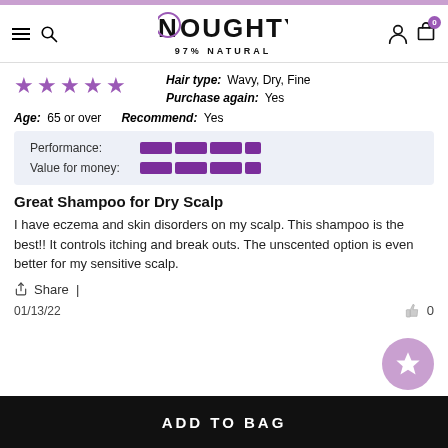NOUGHTY 97% NATURAL
Hair type: Wavy, Dry, Fine
Purchase again: Yes
Age: 65 or over
Recommend: Yes
[Figure (infographic): Rating bars for Performance and Value for money, shown as purple segmented bars on a light blue-grey background]
Great Shampoo for Dry Scalp
I have eczema and skin disorders on my scalp. This shampoo is the best!! It controls itching and break outs. The unscented option is even better for my sensitive scalp.
Share |
01/13/22	0